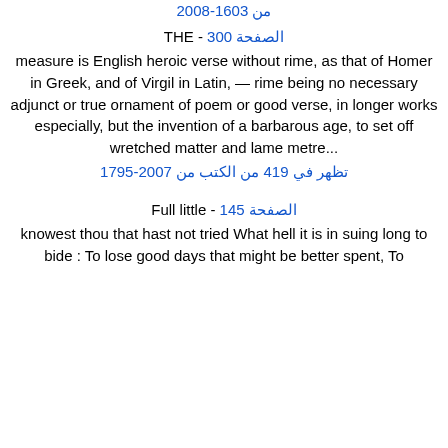من 1603-2008
الصفحة 300 - THE
measure is English heroic verse without rime, as that of Homer in Greek, and of Virgil in Latin, — rime being no necessary adjunct or true ornament of poem or good verse, in longer works especially, but the invention of a barbarous age, to set off wretched matter and lame metre...
تظهر في 419 من الكتب من 1795-2007
الصفحة 145 - Full little
knowest thou that hast not tried What hell it is in suing long to bide : To lose good days that might be better spent, To